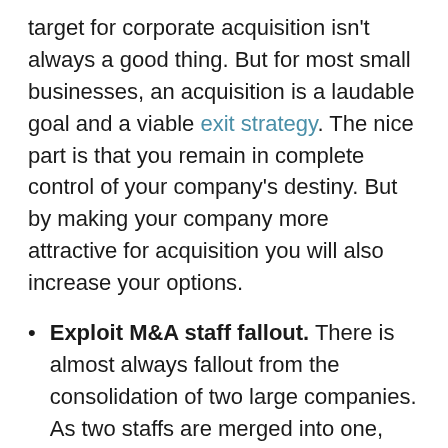target for corporate acquisition isn't always a good thing. But for most small businesses, an acquisition is a laudable goal and a viable exit strategy. The nice part is that you remain in complete control of your company's destiny. But by making your company more attractive for acquisition you will also increase your options.
Exploit M&A staff fallout. There is almost always fallout from the consolidation of two large companies. As two staffs are merged into one, talented individuals are suddenly thrust into the job market. These workers are enticing recruitment